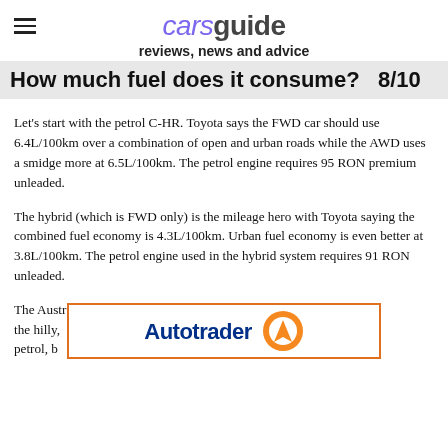carsguide reviews, news and advice
How much fuel does it consume?   8/10
Let's start with the petrol C-HR. Toyota says the FWD car should use 6.4L/100km over a combination of open and urban roads while the AWD uses a smidge more at 6.5L/100km. The petrol engine requires 95 RON premium unleaded.
The hybrid (which is FWD only) is the mileage hero with Toyota saying the combined fuel economy is 4.3L/100km. Urban fuel economy is even better at 3.8L/100km. The petrol engine used in the hybrid system requires 91 RON unleaded.
The Australian launch of the C-HR was on country roads – the hilly, … lots of petrol, b… rid C-
[Figure (logo): Autotrader logo with orange circle icon and blue bold text 'Autotrader']